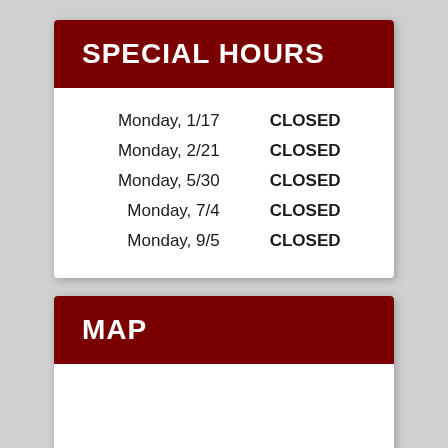SPECIAL HOURS
| Day | Status |
| --- | --- |
| Monday, 1/17 | CLOSED |
| Monday, 2/21 | CLOSED |
| Monday, 5/30 | CLOSED |
| Monday, 7/4 | CLOSED |
| Monday, 9/5 | CLOSED |
MAP